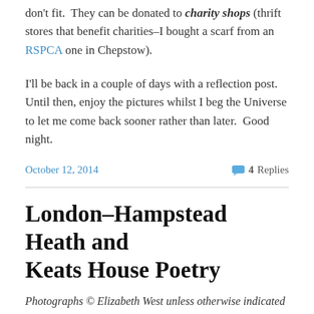don't fit.  They can be donated to charity shops (thrift stores that benefit charities–I bought a scarf from an RSPCA one in Chepstow).
I'll be back in a couple of days with a reflection post.  Until then, enjoy the pictures whilst I beg the Universe to let me come back sooner rather than later.  Good night.
October 12, 2014
4 Replies
London–Hampstead Heath and Keats House Poetry
Photographs © Elizabeth West unless otherwise indicated
11 October